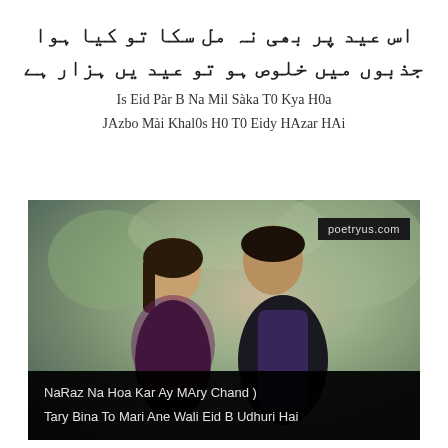اس عید پر بھی نہ مل سکا تو کیا ہوا
جذبوں میں خلوص ہو تو عید یں ہزار ہے
Is Eid Pàr B Na Mil Sàka T0 Kya H0a
JAzbo Mài Khal0s H0 T0 Eidy HAzar HAi
[Figure (photo): A couple facing each other closely, man and woman in colorful traditional attire, blurred background with bokeh effect. Website watermark 'poetryus.com' in top right corner. Black banner at bottom with text: NaRaz Na Hoa Kar Ay MAry Chand ) / Tary Bina To Mari Ane Wali Eid B Udhuri Hai]